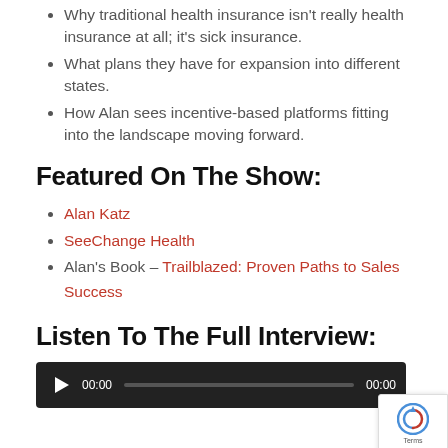Why traditional health insurance isn't really health insurance at all; it's sick insurance.
What plans they have for expansion into different states.
How Alan sees incentive-based platforms fitting into the landscape moving forward.
Featured On The Show:
Alan Katz
SeeChange Health
Alan's Book – Trailblazed: Proven Paths to Sales Success
Listen To The Full Interview:
[Figure (other): Audio player with play button, time display 00:00, progress bar, and end time 00:00 on dark background]